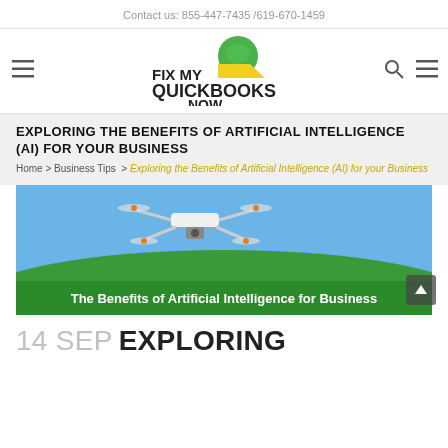Contact us: 855-447-7435 /619-670-1459
[Figure (logo): Fix My QuickBooks Now logo with green leaf and yellow arrow icon above the text FIX MY QUICKBOOKS NOW]
EXPLORING THE BENEFITS OF ARTIFICIAL INTELLIGENCE (AI) FOR YOUR BUSINESS
Home > Business Tips > Exploring the Benefits of Artificial Intelligence (AI) for your Business
[Figure (photo): Photo of a white drone (quadcopter) flying against a blue sky with green hills below. Banner text reads: The Benefits of Artificial Intelligence for Business]
14 SEP  EXPLORING